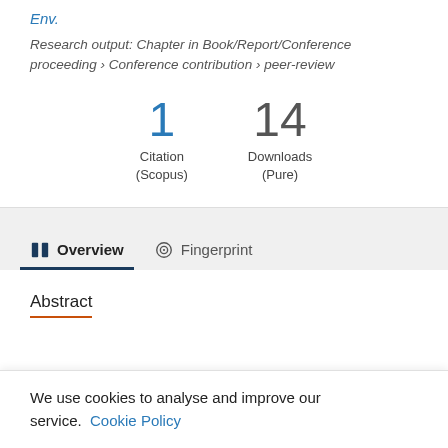Env.
Research output: Chapter in Book/Report/Conference proceeding › Conference contribution › peer-review
1 Citation (Scopus)
14 Downloads (Pure)
Overview
Fingerprint
Abstract
We use cookies to analyse and improve our service. Cookie Policy